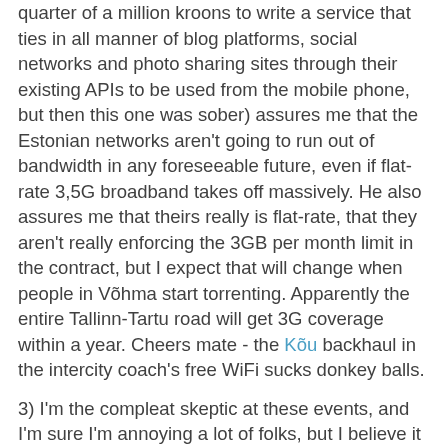quarter of a million kroons to write a service that ties in all manner of blog platforms, social networks and photo sharing sites through their existing APIs to be used from the mobile phone, but then this one was sober) assures me that the Estonian networks aren't going to run out of bandwidth in any foreseeable future, even if flat-rate 3,5G broadband takes off massively. He also assures me that theirs really is flat-rate, that they aren't really enforcing the 3GB per month limit in the contract, but I expect that will change when people in Võhma start torrenting. Apparently the entire Tallinn-Tartu road will get 3G coverage within a year. Cheers mate - the Kõu backhaul in the intercity coach's free WiFi sucks donkey balls.
3) I'm the compleat skeptic at these events, and I'm sure I'm annoying a lot of folks, but I believe it is a necessary service. Almost two decades ago I played the runt in a holiday production of The Emperor's New Clothes at a major Tallinn theater, and my job was to run out and shout: "The king is naked!". Now I do conceptually the same, except I'm asking "Where's the money?". I don't believe in Web 2.0 business models. I'm sure Rubberduck gets very nice revenue from all the services during their Mobile TV solution, but ultimately...